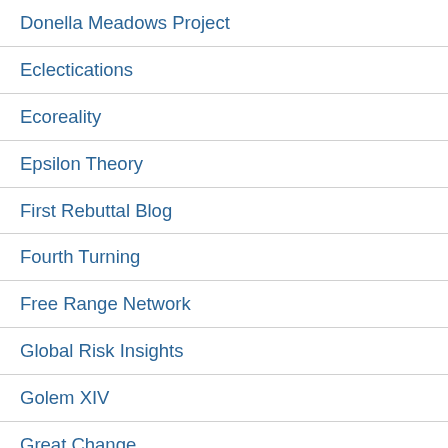Donella Meadows Project
Eclectications
Ecoreality
Epsilon Theory
First Rebuttal Blog
Fourth Turning
Free Range Network
Global Risk Insights
Golem XIV
Great Change